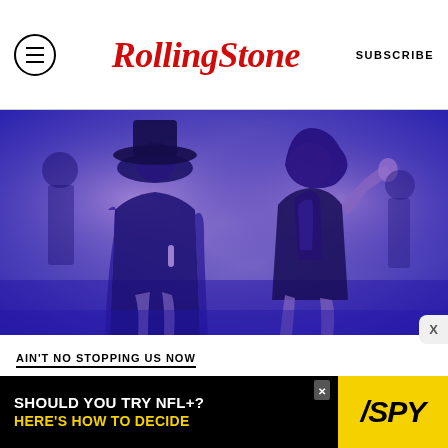RollingStone — SUBSCRIBE
[Figure (photo): Two performers on stage with a purple/blue color wash. Left figure wears a black hat and dark outfit. Right figure wears a black latex/leather outfit with arms raised. Concert performance photo.]
AIN'T NO STOPPING US NOW
The Summer Black Queer Music Took Over
BY ERNEST OWENS
[Figure (screenshot): Advertisement banner: 'SHOULD YOU TRY NFL+? HERE'S HOW TO DECIDE' with SPY logo on yellow background]